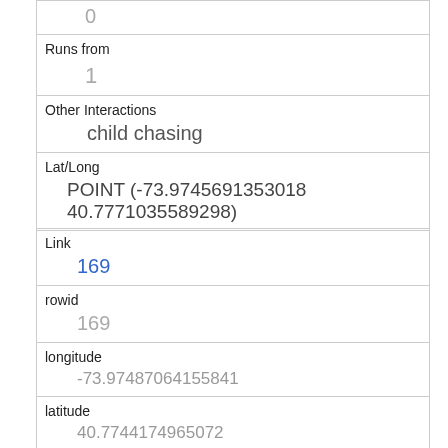| 0 |
| Runs from | 1 |
| Other Interactions | child chasing |
| Lat/Long | POINT (-73.9745691353018 40.7771035589298) |
| Link | 169 |
| rowid | 169 |
| longitude | -73.97487064155841 |
| latitude | 40.7744174965072 |
| Unique Squirrel ID | 10B-AM-1006-02 |
| Hectare | 10B |